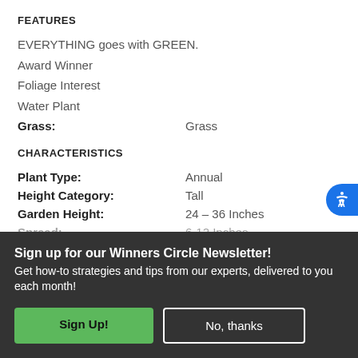FEATURES
EVERYTHING goes with GREEN.
Award Winner
Foliage Interest
Water Plant
Grass: Grass
CHARACTERISTICS
Plant Type: Annual
Height Category: Tall
Garden Height: 24 - 36 Inches
Spread: 12 Inches
Foliage Colors: Blue
Flower Colors: Blue
Habit: Upright
Sign up for our Winners Circle Newsletter! Get how-to strategies and tips from our experts, delivered to you each month!